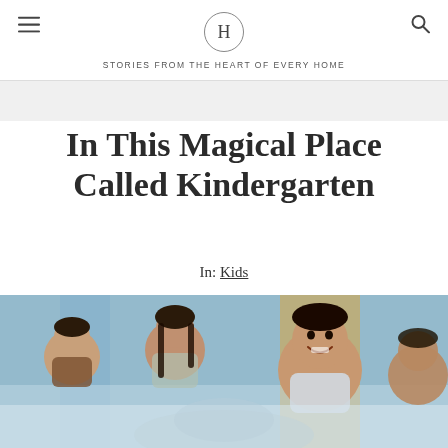H — STORIES FROM THE HEART OF EVERY HOME
In This Magical Place Called Kindergarten
In: Kids
[Figure (photo): Children sitting in a kindergarten classroom, smiling and looking around. A boy in the foreground looks up with a smile.]